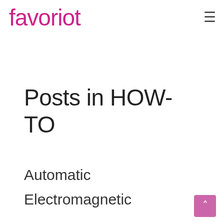favoriot
Posts in HOW-TO
Automatic
Electromagnetic